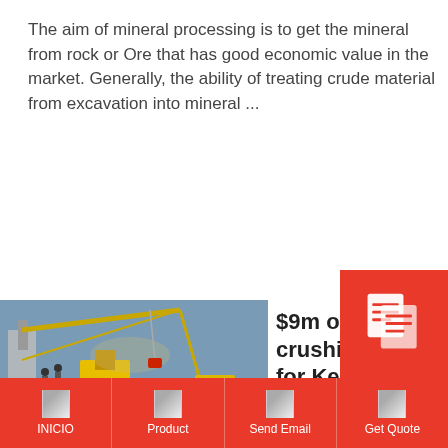The aim of mineral processing is to get the mineral from rock or Ore that has good economic value in the market. Generally, the ability of treating crude material from excavation into mineral ...
Read More
[Figure (photo): Industrial ore crushing plant with yellow machinery and conveyor belts at a mining site]
$9m ore crushing plant for Kenya - Kenya Eng
[Figure (other): Red overlay icon with document/quote symbol]
INICIO | Product | Send Email | Get Quote